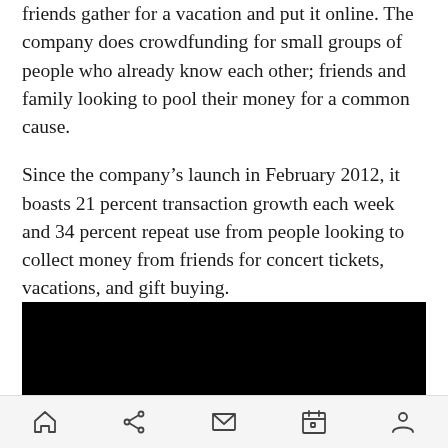friends gather for a vacation and put it online. The company does crowdfunding for small groups of people who already know each other; friends and family looking to pool their money for a common cause.
Since the company's launch in February 2012, it boasts 21 percent transaction growth each week and 34 percent repeat use from people looking to collect money from friends for concert tickets, vacations, and gift buying.
[Figure (photo): Black rectangular image/video placeholder]